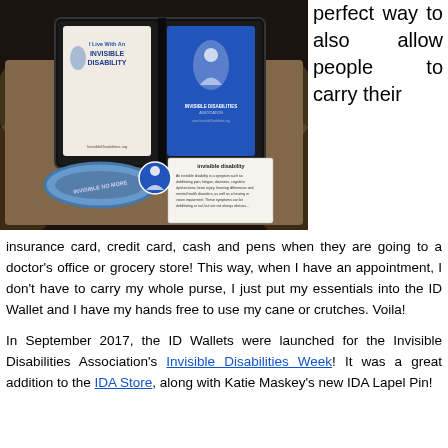[Figure (photo): Photo of an open black ID wallet showing 'I Live With An Invisible Disability InvisibleDisabilities.org' card on left and blue Invisible Disabilities Association card on right, with a blue 'INVISIBLE NO MORE' silicone wristband and blue IDA lapel pin in front, and an 'invisible disability' definition card. Background shows dark theatre-like setting with spotlights.]
perfect way to also allow people to carry their
insurance card, credit card, cash and pens when they are going to a doctor's office or grocery store! This way, when I have an appointment, I don't have to carry my whole purse, I just put my essentials into the ID Wallet and I have my hands free to use my cane or crutches. Voila!
In September 2017, the ID Wallets were launched for the Invisible Disabilities Association's Invisible Disabilities Week! It was a great addition to the IDA Store, along with Katie Maskey's new IDA Lapel Pin!